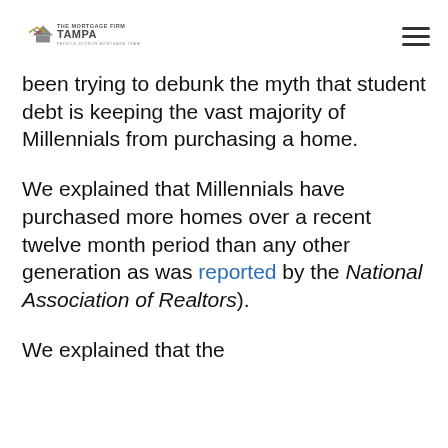The Mortgage Firm Tampa — Patrick Storch Mortgage Team
been trying to debunk the myth that student debt is keeping the vast majority of Millennials from purchasing a home.
We explained that Millennials have purchased more homes over a recent twelve month period than any other generation as was reported by the National Association of Realtors).
We explained that the